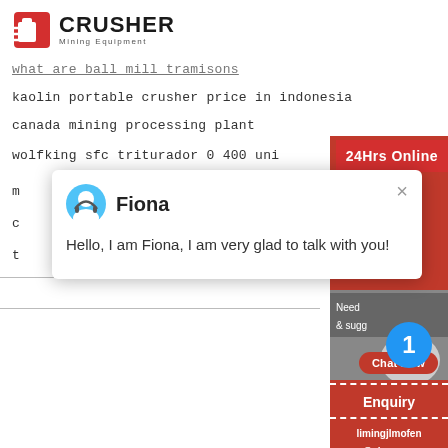[Figure (logo): Crusher Mining Equipment logo with red bag icon and bold text]
what are ball mill tramisons
kaolin portable crusher price in indonesia
canada mining processing plant
wolfking sfc triturador 0 400 uni
24Hrs Online
m
c
t
[Figure (screenshot): Chat popup with avatar of Fiona, name Fiona, message: Hello, I am Fiona, I am very glad to talk with you! and a close X button]
[Figure (infographic): Right side panel with 24Hrs Online button, headset image, blue circle badge with number 1, Need & suggestions text, Chat Now button, dashed separator, Enquiry text, dashed separator, limingjlmofen@sina.com email text]